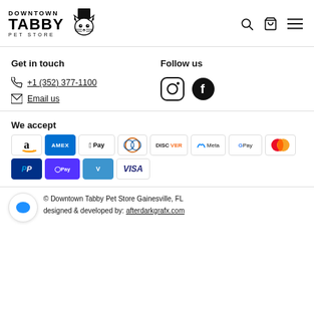[Figure (logo): Downtown Tabby Pet Store logo with top hat cat illustration]
Get in touch
Follow us
+1 (352) 377-1100
Email us
[Figure (illustration): Instagram and Facebook social media icons]
We accept
[Figure (illustration): Payment method badges: Amazon, Amex, Apple Pay, Diners, Discover, Meta Pay, Google Pay, Mastercard, PayPal, Shop Pay, Venmo, Visa]
© Downtown Tabby Pet Store Gainesville, FL designed & developed by: afterdarkgrafx.com